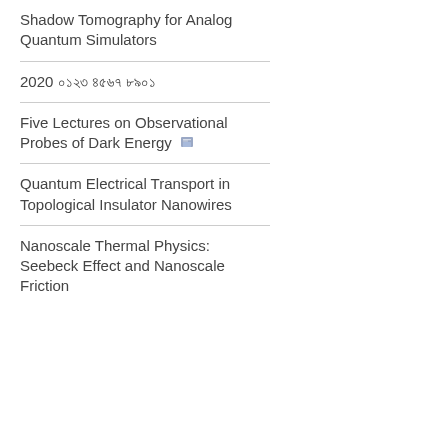Shadow Tomography for Analog Quantum Simulators
2020 ০১২৩ ৪৫৬৭ ৮৯০১
Five Lectures on Observational Probes of Dark Energy
Quantum Electrical Transport in Topological Insulator Nanowires
Nanoscale Thermal Physics: Seebeck Effect and Nanoscale Friction